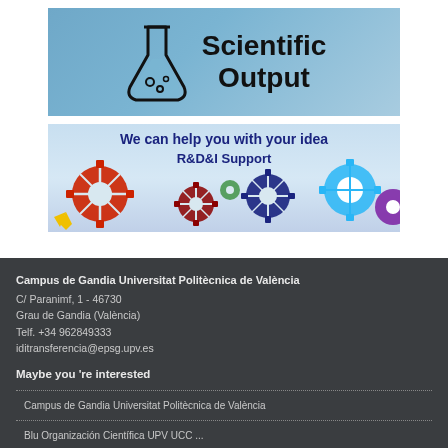[Figure (illustration): Scientific Output banner with blue gradient background, flask icon on the left, and bold text 'Scientific Output' on the right]
[Figure (illustration): R&D&I Support banner with light blue gradient background, colorful gear icons (red, dark red, dark blue, light blue, purple), and text 'We can help you with your idea R&D&I Support']
Campus de Gandia Universitat Politècnica de València
C/ Paranimf, 1 - 46730
Grau de Gandia (València)
Telf. +34 962849333
iditransferencia@epsg.upv.es
Maybe you 're interested
Campus de Gandia Universitat Politècnica de València
Blu Organización Científica UPV UCC ...